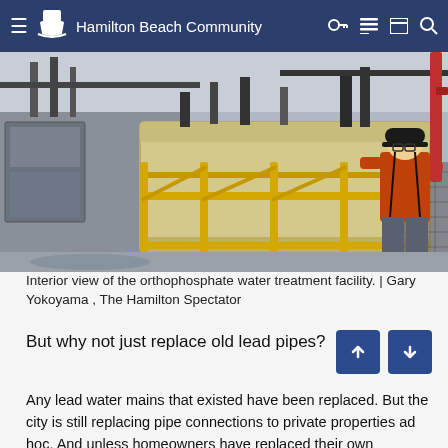Hamilton Beach Community
[Figure (photo): Interior view of the orthophosphate water treatment facility showing a large beige tank surrounded by yellow safety railings, with a worker in an orange hoodie and hard hat standing to the right.]
Interior view of the orthophosphate water treatment facility. | Gary Yokoyama , The Hamilton Spectator
But why not just replace old lead pipes?
Any lead water mains that existed have been replaced. But the city is still replacing pipe connections to private properties ad hoc. And unless homeowners have replaced their own incoming lead pipes in homes built before the mid-1960s, they exist there too.